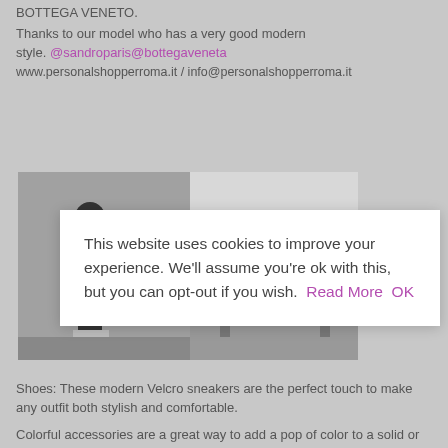BOTTEGA VENETO.
Thanks to our model who has a very good modern style. @sandro paris@bottegaveneta
www.personalshopperroma.it / info@personalshopperroma.it
[Figure (photo): Two fashion photos side by side showing a person in dark clothing with colorful accessories outdoors, partially obscured by cookie consent overlay]
This website uses cookies to improve your experience. We'll assume you're ok with this, but you can opt-out if you wish. Read More OK
Shoes: These modern Velcro sneakers are the perfect touch to make any outfit both stylish and comfortable.
Colorful accessories are a great way to add a pop of color to a solid or neutral outfit. If you're ever feeling to bland or boring, add a colorful purse, necklace or sunglasses to spice up your outfit.